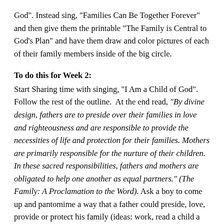God". Instead sing, "Families Can Be Together Forever" and then give them the printable "The Family is Central to God's Plan" and have them draw and color pictures of each of their family members inside of the big circle.
To do this for Week 2:
Start Sharing time with singing, "I Am a Child of God". Follow the rest of the outline.  At the end read, "By divine design, fathers are to preside over their families in love and righteousness and are responsible to provide the necessities of life and protection for their families. Mothers are primarily responsible for the nurture of their children. In these sacred responsibilities, fathers and mothers are obligated to help one another as equal partners." (The Family: A Proclamation to the Word). Ask a boy to come up and pantomime a way that a father could preside, love, provide or protect his family (ideas: work, read a child a book, help with homework, teach a gospel principle, play a sport with a child, etc.). It might be a good idea to have some ideas written on pieces